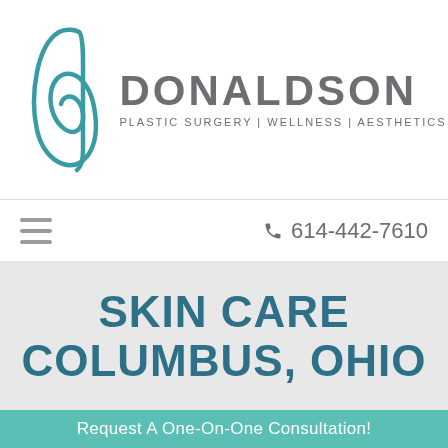[Figure (logo): Donaldson Plastic Surgery | Wellness | Aesthetics logo with teal cursive 'd' and gray text]
614-442-7610
SKIN CARE COLUMBUS, OHIO
Request A One-On-One Consultation!